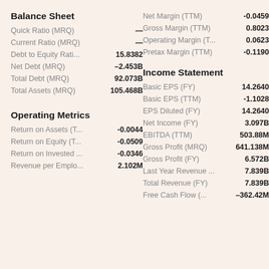Balance Sheet
Quick Ratio (MRQ)	—
Current Ratio (MRQ)	—
Debt to Equity Rati...	15.8382
Net Debt (MRQ)	–2.453B
Total Debt (MRQ)	92.073B
Total Assets (MRQ)	105.468B
Operating Metrics
Return on Assets (T...	-0.0044
Return on Equity (T...	-0.0509
Return on Invested ...	-0.0346
Revenue per Emplo...	2.102M
Net Margin (TTM)	-0.0459
Gross Margin (TTM)	0.8023
Operating Margin (T...	0.0623
Pretax Margin (TTM)	-0.1190
Income Statement
Basic EPS (FY)	14.2640
Basic EPS (TTM)	-1.1028
EPS Diluted (FY)	14.2640
Net Income (FY)	3.097B
EBITDA (TTM)	503.88M
Gross Profit (MRQ)	641.138M
Gross Profit (FY)	6.572B
Last Year Revenue ...	7.839B
Total Revenue (FY)	7.839B
Free Cash Flow (...	–362.42M